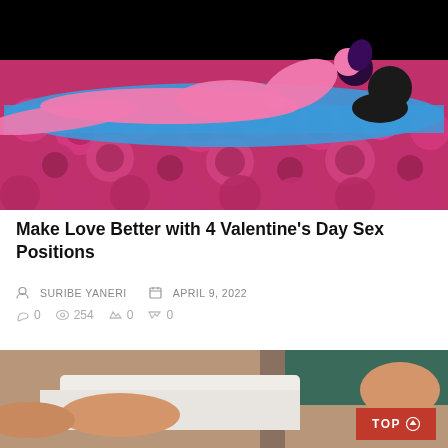[Figure (illustration): Colorful illustration of figures on a bed of pink roses against a black background. Pink stylized human figures in intimate pose on a blue surface, surrounded by pink roses.]
Make Love Better with 4 Valentine's Day Sex Positions
SURIBE YANERI   APRIL 9, 2022
0   254   0   0
[Figure (photo): Photograph of a person lying in bed with white sheets, partial view of body and background.]